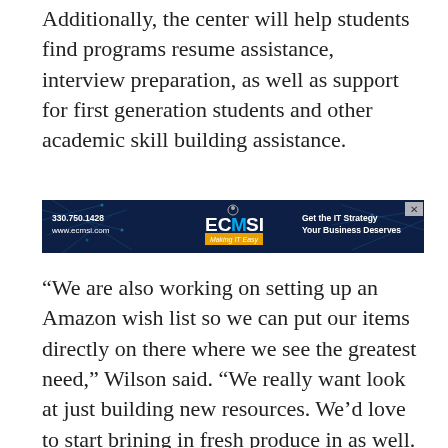Additionally, the center will help students find programs resume assistance, interview preparation, as well as support for first generation students and other academic skill building assistance.
[Figure (infographic): ECMSI advertisement banner. Dark blue background with circuit/network line pattern. Shows phone number 330.750.1428 and website www.ecmsi.com on left, ECMSI logo in center with tagline 'Making IT Easy', and text 'Get the IT Strategy Your Business Deserves' on right. Has a close (X) button in top right corner.]
“We are also working on setting up an Amazon wish list so we can put our items directly on there where we see the greatest need,” Wilson said. “We really want look at just building new resources. We’d love to start brining in fresh produce in as well. The meat has been a great thing…but we’d